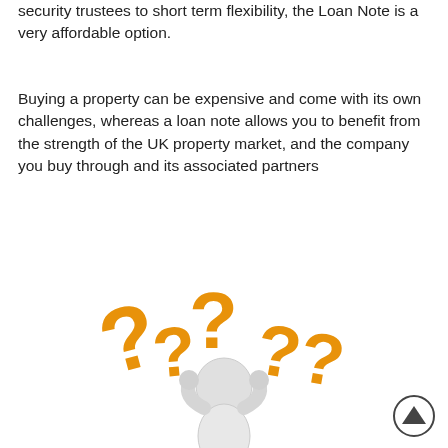security trustees to short term flexibility, the Loan Note is a very affordable option.
Buying a property can be expensive and come with its own challenges, whereas a loan note allows you to benefit from the strength of the UK property market, and the company you buy through and its associated partners
[Figure (illustration): 3D illustration of a white humanoid figure with hands on head surrounded by multiple large orange 3D question marks, suggesting confusion or uncertainty.]